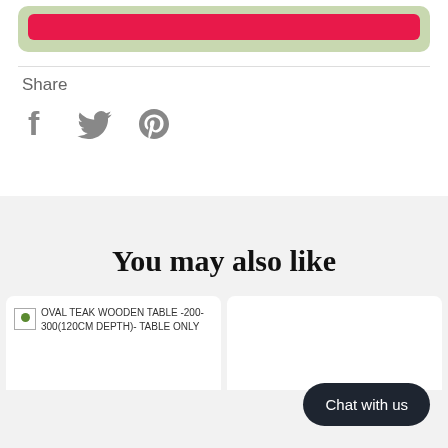[Figure (screenshot): Green rounded box with a pink/red button inside at the top of the page]
Share
[Figure (other): Social share icons: Facebook (f), Twitter (bird), Pinterest (P circle)]
You may also like
[Figure (other): Product card thumbnail for OVAL TEAK WOODEN TABLE -200-300(120CM DEPTH)- TABLE ONLY]
OVAL TEAK WOODEN TABLE -200-300(120CM DEPTH)- TABLE ONLY
Chat with us